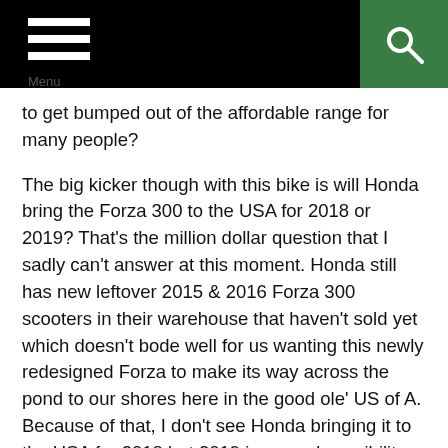Menu
to get bumped out of the affordable range for many people?
The big kicker though with this bike is will Honda bring the Forza 300 to the USA for 2018 or 2019? That's the million dollar question that I sadly can't answer at this moment. Honda still has new leftover 2015 & 2016 Forza 300 scooters in their warehouse that haven't sold yet which doesn't bode well for us wanting this newly redesigned Forza to make its way across the pond to our shores here in the good ole' US of A. Because of that, I don't see Honda bringing it to the USA for 2018 but 2019 is a good possibility, I'd say a big deciding factor will be how quick Honda can get rid of those leftover Forzas'...